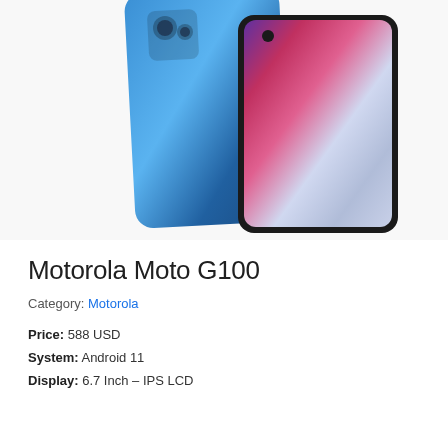[Figure (photo): Motorola Moto G100 smartphone shown from back and front angles. Back is blue gradient, front shows colorful abstract wallpaper on the display.]
Motorola Moto G100
Category: Motorola
Price: 588 USD
System: Android 11
Display: 6.7 Inch – IPS LCD